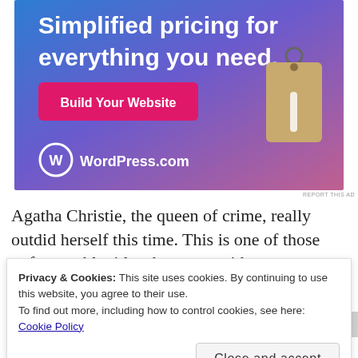[Figure (illustration): WordPress.com advertisement banner with gradient blue-purple-pink background. Large white text reads 'Simplified pricing for everything you need.' A pink button labeled 'Build Your Website' is visible, along with a price tag graphic and the WordPress.com logo at the bottom left.]
REPORT THIS AD
Agatha Christie, the queen of crime, really outdid herself this time. This is one of those unforgettable titles that stays with
Privacy & Cookies: This site uses cookies. By continuing to use this website, you agree to their use.
To find out more, including how to control cookies, see here: Cookie Policy
Close and accept